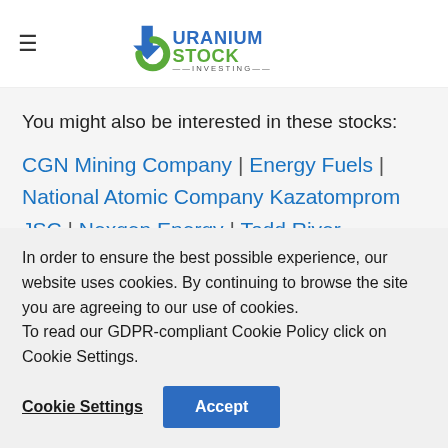Uranium Stock Investing
You might also be interested in these stocks:
CGN Mining Company | Energy Fuels | National Atomic Company Kazatomprom JSC | Nexgen Energy | Todd River Resources |
In order to ensure the best possible experience, our website uses cookies. By continuing to browse the site you are agreeing to our use of cookies. To read our GDPR-compliant Cookie Policy click on Cookie Settings.
Cookie Settings  Accept